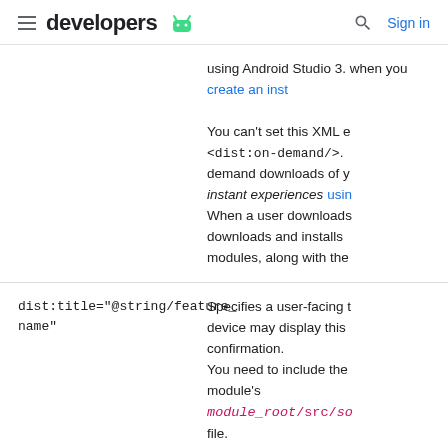developers (android logo) | Search | Sign in
| Attribute | Description |
| --- | --- |
|  | using Android Studio 3. when you create an inst

You can't set this XML e <dist:on-demand/>. demand downloads of y instant experiences usin When a user downloads downloads and installs modules, along with the |
| dist:title="@string/feature_name" | Specifies a user-facing t device may display this confirmation.
You need to include the module's module_root/src/so file. |